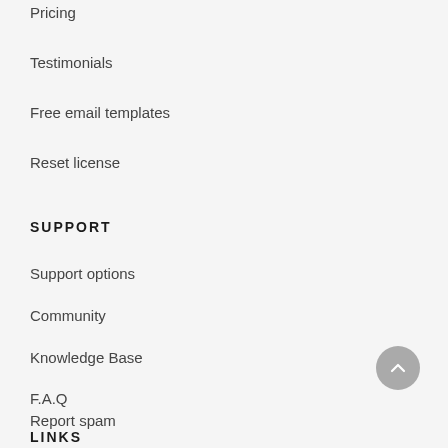Pricing
Testimonials
Free email templates
Reset license
SUPPORT
Support options
Community
Knowledge Base
F.A.Q
Report spam
LINKS